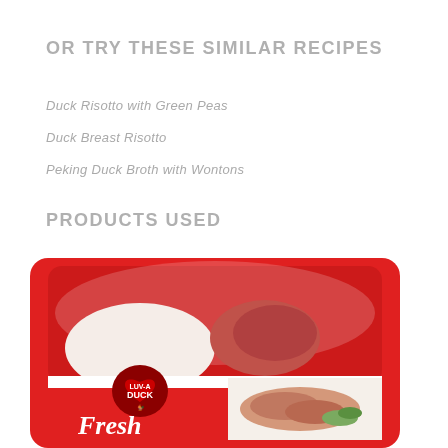OR TRY THESE SIMILAR RECIPES
Duck Risotto with Green Peas
Duck Breast Risotto
Peking Duck Broth with Wontons
PRODUCTS USED
[Figure (photo): Luv-a-Duck Fresh duck breast product in a red plastic tray with packaging label showing sliced duck and the text 'Fresh']